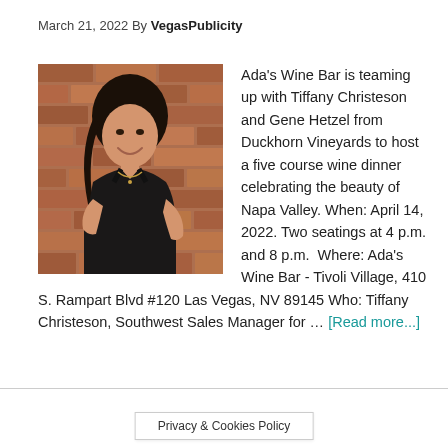March 21, 2022 By VegasPublicity
[Figure (photo): Young woman with dark hair in a black dress, smiling, posed against a brick wall background.]
Ada's Wine Bar is teaming up with Tiffany Christeson and Gene Hetzel from Duckhorn Vineyards to host a five course wine dinner celebrating the beauty of Napa Valley. When: April 14, 2022. Two seatings at 4 p.m. and 8 p.m.  Where: Ada's Wine Bar - Tivoli Village, 410 S. Rampart Blvd #120 Las Vegas, NV 89145 Who: Tiffany Christeson, Southwest Sales Manager for … [Read more...]
Privacy & Cookies Policy